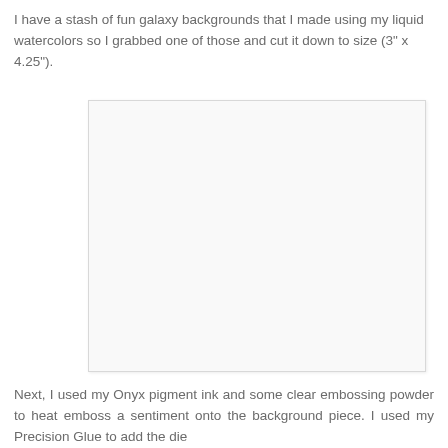I have a stash of fun galaxy backgrounds that I made using my liquid watercolors so I grabbed one of those and cut it down to size (3" x 4.25").
[Figure (photo): A white/blank rectangular image placeholder with a light gray border, representing a galaxy background piece cut to 3" x 4.25".]
Next, I used my Onyx pigment ink and some clear embossing powder to heat emboss a sentiment onto the background piece. I used my Precision Glue to add the die